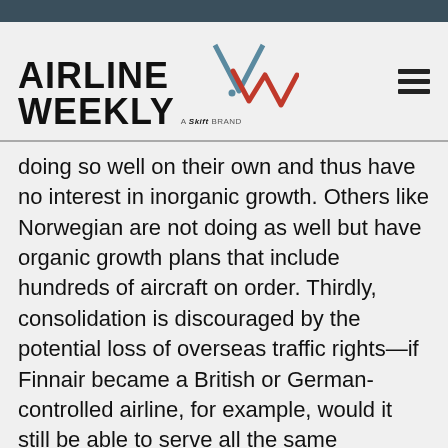AIRLINE WEEKLY — A Skift Brand
doing so well on their own and thus have no interest in inorganic growth. Others like Norwegian are not doing as well but have organic growth plans that include hundreds of aircraft on order. Thirdly, consolidation is discouraged by the potential loss of overseas traffic rights—if Finnair became a British or German-controlled airline, for example, would it still be able to serve all the same countries throughout Asia from Helsinki? (Yes, the widely practiced group model, like the Lufthansa Group itself, addresses this but it also comes at a cost of